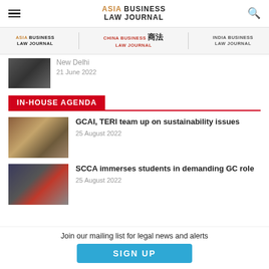ASIA BUSINESS LAW JOURNAL
[Figure (logo): Asia Business Law Journal logo navigation bar with Asia Business Law Journal, China Business Law Journal, and India Business Law Journal logos]
New Delhi
21 June 2022
IN-HOUSE AGENDA
[Figure (photo): Group photo at GCAI and TERI sustainability event]
GCAI, TERI team up on sustainability issues
25 August 2022
[Figure (photo): Group photo at SCCA Legal Eagle event]
SCCA immerses students in demanding GC role
25 August 2022
Join our mailing list for legal news and alerts
SIGN UP